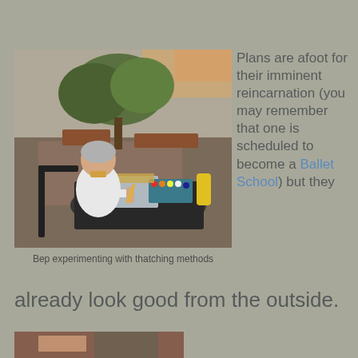[Figure (photo): Elderly woman with gray hair sitting at an outdoor metal mesh table, working with thatching materials. Background shows a patio/courtyard with trees and plants.]
Bep experimenting with thatching methods
Plans are afoot for their imminent reincarnation (you may remember that one is scheduled to become a Ballet School) but they already look good from the outside.
[Figure (photo): Partial photo visible at bottom of page, cropped.]